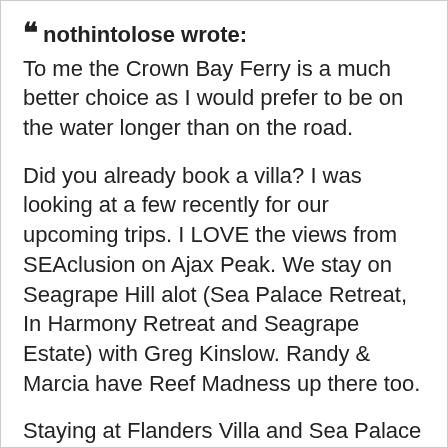“ nothintolose wrote:
To me the Crown Bay Ferry is a much better choice as I would prefer to be on the water longer than on the road.
Did you already book a villa? I was looking at a few recently for our upcoming trips. I LOVE the views from SEAclusion on Ajax Peak. We stay on Seagrape Hill alot (Sea Palace Retreat, In Harmony Retreat and Seagrape Estate) with Greg Kinslow. Randy & Marcia have Reef Madness up there too.
Staying at Flanders Villa and Sea Palace Retreat for our two trips this summer.